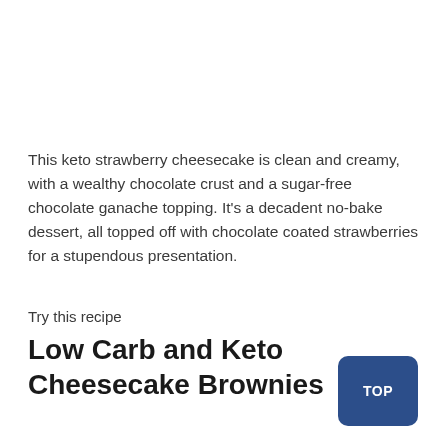This keto strawberry cheesecake is clean and creamy, with a wealthy chocolate crust and a sugar-free chocolate ganache topping. It's a decadent no-bake dessert, all topped off with chocolate coated strawberries for a stupendous presentation.
Try this recipe
Low Carb and Keto Cheesecake Brownies
[Figure (other): Blue rounded rectangle button with white text 'TOP']